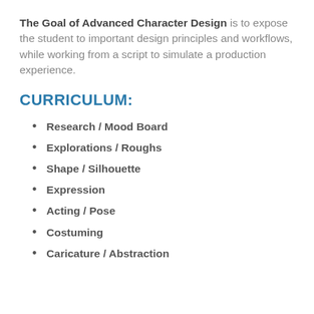The Goal of Advanced Character Design is to expose the student to important design principles and workflows, while working from a script to simulate a production experience.
CURRICULUM:
Research / Mood Board
Explorations / Roughs
Shape / Silhouette
Expression
Acting / Pose
Costuming
Caricature / Abstraction